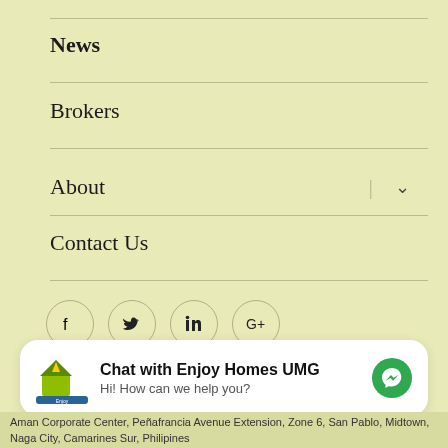News
Brokers
About
Contact Us
[Figure (other): Social media icons: Facebook, Twitter, LinkedIn, Google+]
Enjoy Realty & Development Corporation / Website Development by UMG DIGITAL
[Figure (other): Chat widget with Enjoy Homes UMG logo, title 'Chat with Enjoy Homes UMG', subtitle 'Hi! How can we help you?', and messenger button]
Aman Corporate Center, Peñafrancia Avenue Extension, Zone 6, San Pablo, Midtown, Naga City, Camarines Sur, Philippines